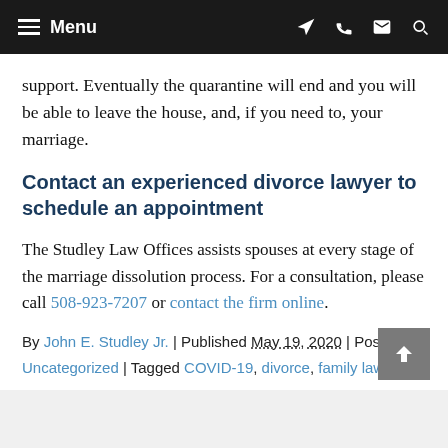Menu
support. Eventually the quarantine will end and you will be able to leave the house, and, if you need to, your marriage.
Contact an experienced divorce lawyer to schedule an appointment
The Studley Law Offices assists spouses at every stage of the marriage dissolution process. For a consultation, please call 508-923-7207 or contact the firm online.
By John E. Studley Jr. | Published May 19, 2020 | Posted in Uncategorized | Tagged COVID-19, divorce, family law